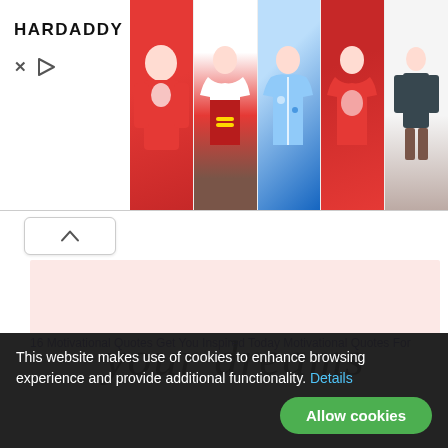[Figure (screenshot): Ad banner for HARDADDY clothing brand showing logo on left and 5 product images of Christmas/casual shirts and hoodies on right. Controls include X close and play button.]
[Figure (illustration): Pink/light background motivational quote image showing cursive handwritten text 'your dreams' in large black script font]
16 Motivational Quotes Get You Inspired Today Motivational Quotes For
This website makes use of cookies to enhance browsing experience and provide additional functionality. Details
Allow cookies